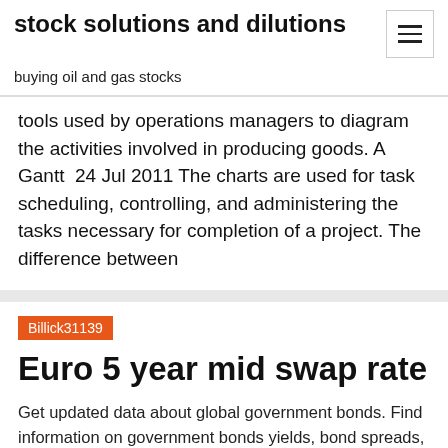stock solutions and dilutions
buying oil and gas stocks
tools used by operations managers to diagram the activities involved in producing goods. A Gantt  24 Jul 2011 The charts are used for task scheduling, controlling, and administering the tasks necessary for completion of a project. The difference between
Billick31139
Euro 5 year mid swap rate
Get updated data about global government bonds. Find information on government bonds yields, bond spreads, and interest rates. Een overzicht van de Interest Rate Swaps. » Rentes. Rentes · Euro Deposite Rates · Interest Rate Swaps